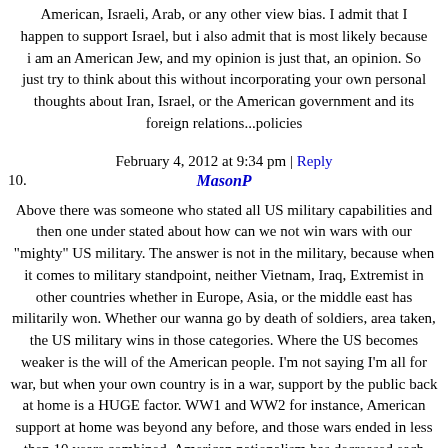American, Israeli, Arab, or any other view bias. I admit that I happen to support Israel, but i also admit that is most likely because i am an American Jew, and my opinion is just that, an opinion. So just try to think about this without incorporating your own personal thoughts about Iran, Israel, or the American government and its foreign relations...policies
February 4, 2012 at 9:34 pm | Reply
10. MasonP
Above there was someone who stated all US military capabilities and then one under stated about how can we not win wars with our "mighty" US military. The answer is not in the military, because when it comes to military standpoint, neither Vietnam, Iraq, Extremist in other countries whether in Europe, Asia, or the middle east has militarily won. Whether our wanna go by death of soldiers, area taken, the US military wins in those categories. Where the US becomes weaker is the will of the American people. I'm not saying I'm all for war, but when your own country is in a war, support by the public back at home is a HUGE factor. WW1 and WW2 for instance, American support at home was beyond any before, and those wars ended in less then 10 years combined. American nationalism has decreased each year,